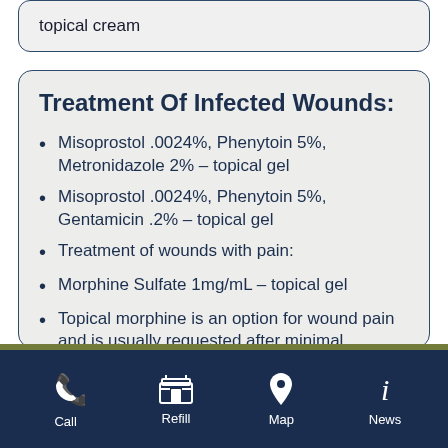topical cream
Treatment Of Infected Wounds:
Misoprostol .0024%, Phenytoin 5%, Metronidazole 2% – topical gel
Misoprostol .0024%, Phenytoin 5%, Gentamicin .2% – topical gel
Treatment of wounds with pain:
Morphine Sulfate 1mg/mL – topical gel
Topical morphine is an option for wound pain and is usually requested after minimal
Call  Refill  Map  News